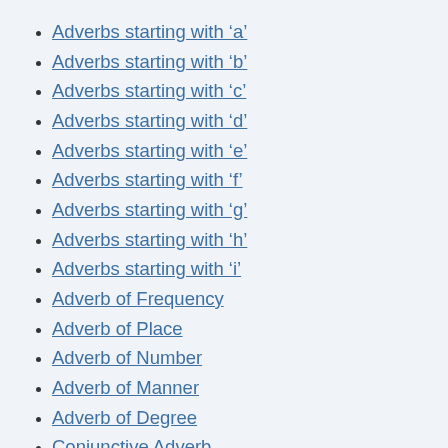Adverbs starting with 'a'
Adverbs starting with 'b'
Adverbs starting with 'c'
Adverbs starting with 'd'
Adverbs starting with 'e'
Adverbs starting with 'f'
Adverbs starting with 'g'
Adverbs starting with 'h'
Adverbs starting with 'i'
Adverb of Frequency
Adverb of Place
Adverb of Number
Adverb of Manner
Adverb of Degree
Conjunctive Adverb